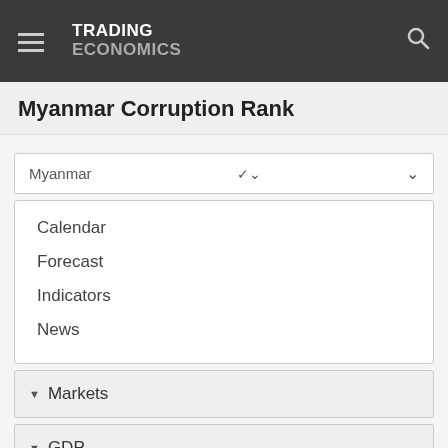TRADING ECONOMICS
Myanmar Corruption Rank
Myanmar
Calendar
Forecast
Indicators
News
Markets
GDP
Labour